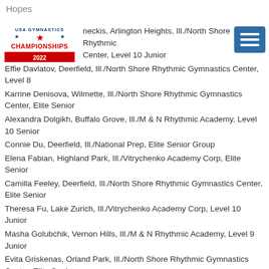Hopes
[Figure (logo): USA Gymnastics Championships 2022 logo]
Anastasija Mazneckis, Arlington Heights, Ill./North Shore Rhythmic Gymnastics Center, Level 10 Junior
Effie Davlatov, Deerfield, Ill./North Shore Rhythmic Gymnastics Center, Level 8
Karrine Denisova, Wilmette, Ill./North Shore Rhythmic Gymnastics Center, Elite Senior
Alexandra Dolgikh, Buffalo Grove, Ill./M & N Rhythmic Academy, Level 10 Senior
Connie Du, Deerfield, Ill./National Prep, Elite Senior Group
Elena Fabian, Highland Park, Ill./Vitrychenko Academy Corp, Elite Senior
Camilla Feeley, Deerfield, Ill./North Shore Rhythmic Gymnastics Center, Elite Senior
Theresa Fu, Lake Zurich, Ill./Vitrychenko Academy Corp, Level 10 Junior
Masha Golubchik, Vernon Hills, Ill./M & N Rhythmic Academy, Level 9 Junior
Evita Griskenas, Orland Park, Ill./North Shore Rhythmic Gymnastics Center, Elite Senior
Patricija Ivanauskaite, Clarendon Hills, Ill./North Shore Rhythmic Gymnastics Center, Elite Junior
Nicole Khoma, Northbrook, Ill./North Shore Rhythmic Gymnastics Center, Level 9 Junior
Yeo Won Kim, Oak Park, Ill./Vitrychenko Academy Corp, Level 9 Hopes
Yelizaveta Kovalenko, Deerfield, Ill./North Shore Rhythmic Gymnastics